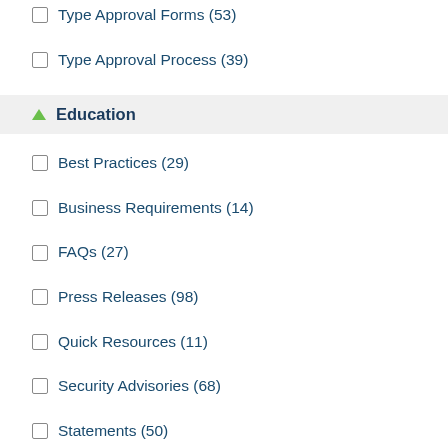Type Approval Forms (53)
Type Approval Process (39)
Education
Best Practices (29)
Business Requirements (14)
FAQs (27)
Press Releases (98)
Quick Resources (11)
Security Advisories (68)
Statements (50)